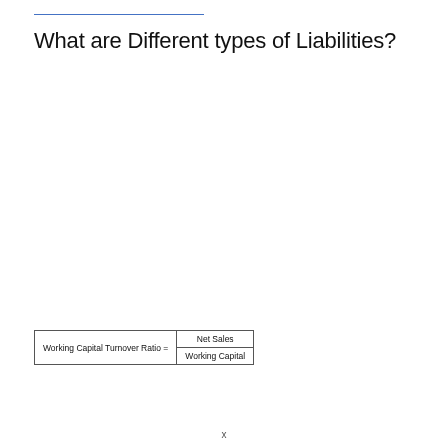What are Different types of Liabilities?
| Working Capital Turnover Ratio = | Net Sales |  |
| Working Capital Turnover Ratio = | Working Capital |  |